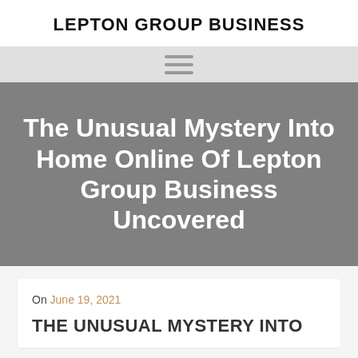LEPTON GROUP BUSINESS
[Figure (other): Hamburger navigation menu icon (three horizontal lines)]
The Unusual Mystery Into Home Online Of Lepton Group Business Uncovered
On June 19, 2021
THE UNUSUAL MYSTERY INTO